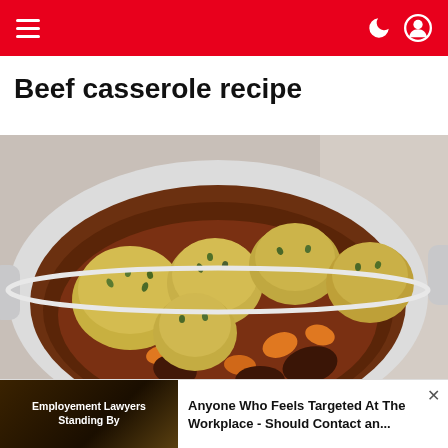Navigation bar with hamburger menu and user icons
Beef casserole recipe
[Figure (photo): A white casserole dish filled with beef stew topped with herb dumplings, photographed from above at a slight angle]
Employement Lawyers Standing By
Anyone Who Feels Targeted At The Workplace - Should Contact an...